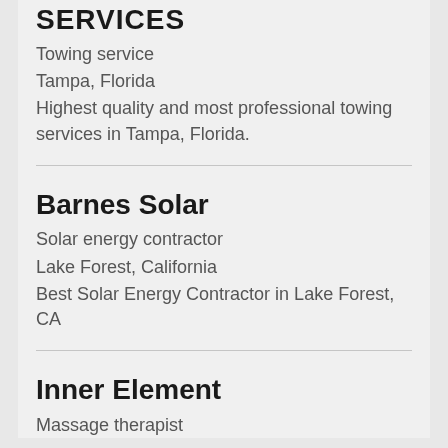SERVICES
Towing service
Tampa, Florida
Highest quality and most professional towing services in Tampa, Florida.
Barnes Solar
Solar energy contractor
Lake Forest, California
Best Solar Energy Contractor in Lake Forest, CA
Inner Element
Massage therapist